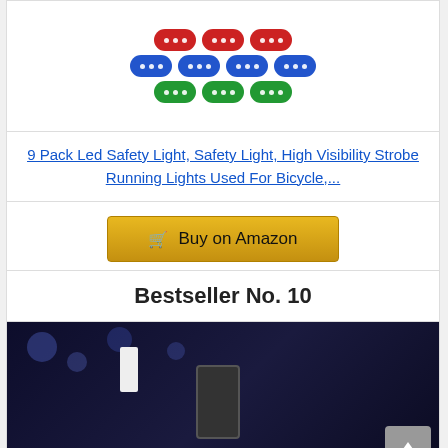[Figure (photo): LED safety lights in blue and green colors arranged in two rows]
9 Pack Led Safety Light, Safety Light, High Visibility Strobe Running Lights Used For Bicycle,...
Buy on Amazon
Bestseller No. 10
[Figure (photo): Product photo showing a portable LED light device and a woman drinking water at night]